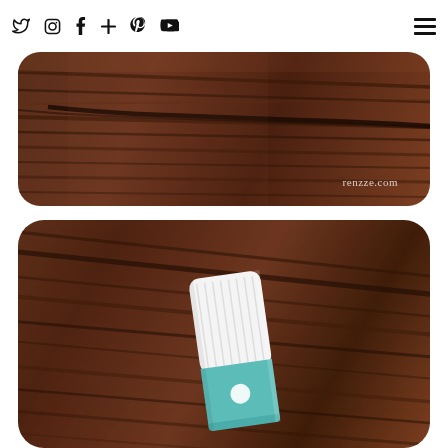social icons: twitter, instagram, facebook, plus, pinterest, youtube | hamburger menu
[Figure (photo): Close-up photo of dark brown weathered wooden planks/boards with visible grain and cracks, shown with rounded corners. Watermark text 'renzze.com' in lower right.]
[Figure (photo): Close-up photo of a white and teal/green Clinique skincare product bottle lying on dark brown weathered wooden planks, shown with rounded corners.]